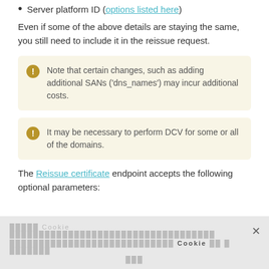Server platform ID (options listed here)
Even if some of the above details are staying the same, you still need to include it in the reissue request.
Note that certain changes, such as adding additional SANs ('dns_names') may incur additional costs.
It may be necessary to perform DCV for some or all of the domains.
The Reissue certificate endpoint accepts the following optional parameters:
[Cookie consent banner in non-Latin script]